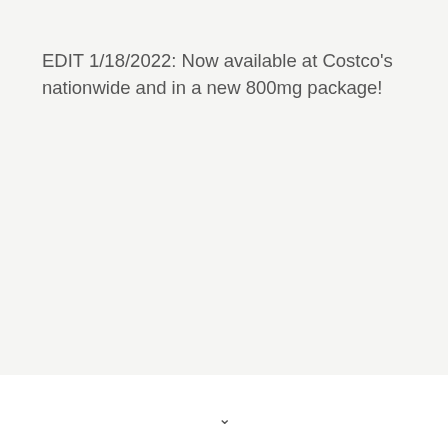EDIT 1/18/2022: Now available at Costco's nationwide and in a new 800mg package!